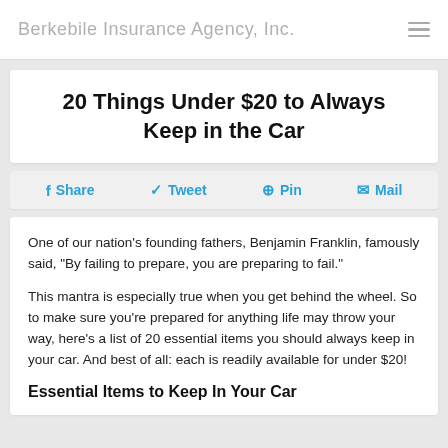Berkebile Insurance Agency, Inc.
20 Things Under $20 to Always Keep in the Car
Share  Tweet  Pin  Mail
One of our nation's founding fathers, Benjamin Franklin, famously said, “By failing to prepare, you are preparing to fail.”
This mantra is especially true when you get behind the wheel. So to make sure you’re prepared for anything life may throw your way, here’s a list of 20 essential items you should always keep in your car. And best of all: each is readily available for under $20!
Essential Items to Keep In Your Car